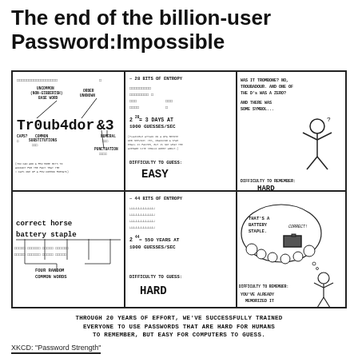The end of the billion-user Password:Impossible
[Figure (illustration): XKCD 'Password Strength' comic strip showing two password examples in a 2x3 grid. Top row: complex password Tr0ub4dor&3 with annotations, entropy diagram, and confused person. Bottom row: 'correct horse battery staple' passphrase with annotations, entropy diagram, and person remembering it. Bottom caption: 'Through 20 years of effort, we've successfully trained everyone to use passwords that are hard for humans to remember, but easy for computers to guess.']
Through 20 years of effort, we've successfully trained everyone to use passwords that are hard for humans to remember, but easy for computers to guess.
XKCD: "Password Strength"